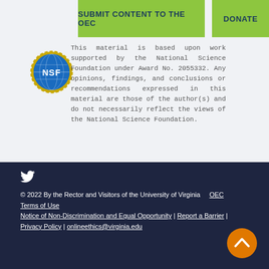SUBMIT CONTENT TO THE OEC   DONATE
[Figure (logo): NSF (National Science Foundation) circular logo with globe and gear border]
This material is based upon work supported by the National Science Foundation under Award No. 2055332. Any opinions, findings, and conclusions or recommendations expressed in this material are those of the author(s) and do not necessarily reflect the views of the National Science Foundation.
[Figure (logo): Twitter bird icon in white]
© 2022 By the Rector and Visitors of the University of Virginia   OEC Terms of Use   Notice of Non-Discrimination and Equal Opportunity | Report a Barrier | Privacy Policy | onlineethics@virginia.edu